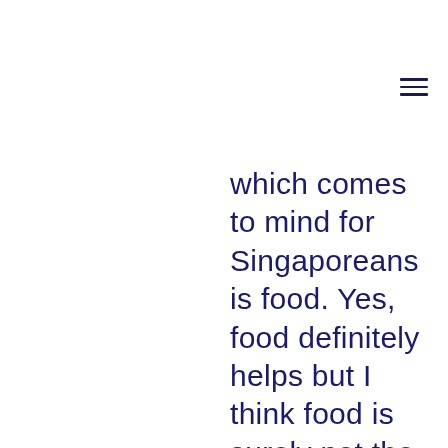which comes to mind for Singaporeans is food. Yes, food definitely helps but I think food is surely not the most crucial. It has to come from something deeper than that, and that comes from our shared experiences, and our bonding through these shared experiences, becoming one people. It depends on how we grow up and live together in our schools, in our national service, in our HDB flats and estates. It